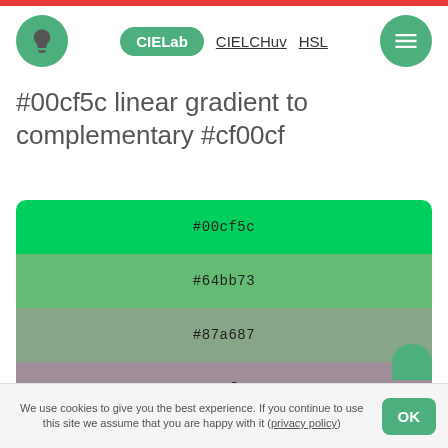CIELab | CIELCHuv | HSL
#00cf5c linear gradient to complementary #cf00cf
[Figure (infographic): Vertical stack of 7 color swatches showing a linear gradient from #00cf5c (green) to #cf00cf (magenta), with intermediate steps: #64bb73, #87a687, #a08f9a, #b374ac, #c252be]
We use cookies to give you the best experience. If you continue to use this site we assume that you are happy with it (privacy policy)